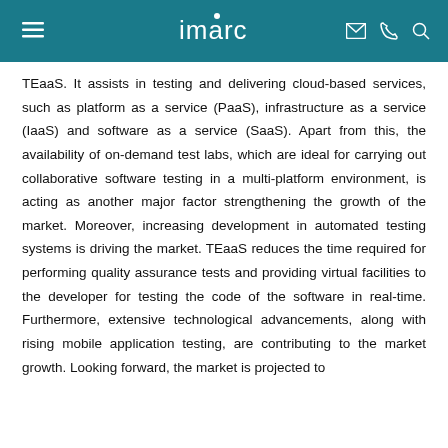imarc
TEaaS. It assists in testing and delivering cloud-based services, such as platform as a service (PaaS), infrastructure as a service (IaaS) and software as a service (SaaS). Apart from this, the availability of on-demand test labs, which are ideal for carrying out collaborative software testing in a multi-platform environment, is acting as another major factor strengthening the growth of the market. Moreover, increasing development in automated testing systems is driving the market. TEaaS reduces the time required for performing quality assurance tests and providing virtual facilities to the developer for testing the code of the software in real-time. Furthermore, extensive technological advancements, along with rising mobile application testing, are contributing to the market growth. Looking forward, the market is projected to